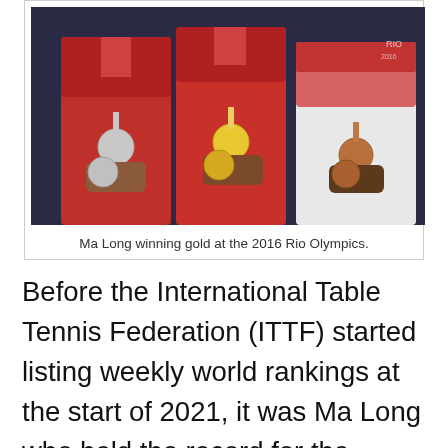[Figure (photo): Photo of Ma Long and other athletes on the podium displaying their medals at the 2016 Rio Olympics, wearing red Chinese team uniforms.]
Ma Long winning gold at the 2016 Rio Olympics.
Before the International Table Tennis Federation (ITTF) started listing weekly world rankings at the start of 2021, it was Ma Long who held the record for the longest time spent at the world number one position for men's singles. Ma recorded 64 months at the top of the standings when he first topped the rankings in January 2012.